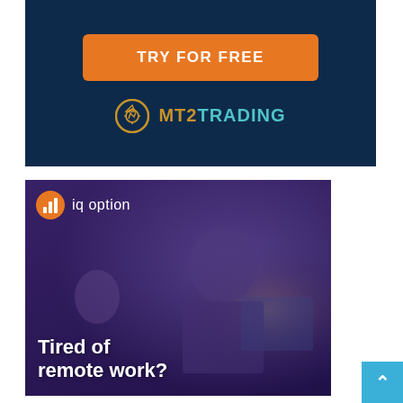[Figure (illustration): MT2Trading advertisement banner with dark navy blue background. Contains orange 'TRY FOR FREE' button and MT2Trading logo with gear icon.]
[Figure (illustration): IQ Option advertisement banner showing a man thinking at a computer in a dark room with purple overlay. Text reads 'Tired of remote work?' with IQ Option logo at top.]